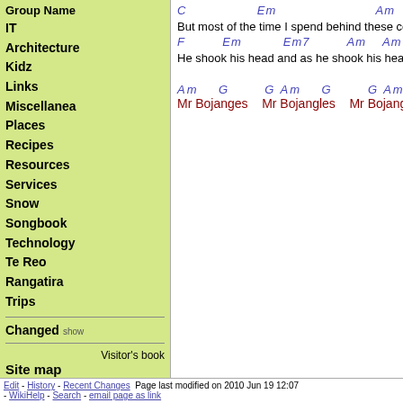Group Name
IT
Architecture
Kidz
Links
Miscellanea
Places
Recipes
Resources
Services
Snow
Songbook
Technology
Te Reo
Rangatira
Trips
Changed  show
Visitor's book
Site map
pmwiki-2.3.2
login
C    Em    Am
But most of the time I spend behind these county ba
F    Em    Em7    Am    Am
He shook his head and as he shook his head, I hear
Am  G  G Am  G  G Am  G  G
Mr Bojanges  Mr Bojangles  Mr Bojangles go
Edit - History - Recent Changes  Page last modified on 2010 Jun 19 12:07 - WikiHelp - Search - email page as link